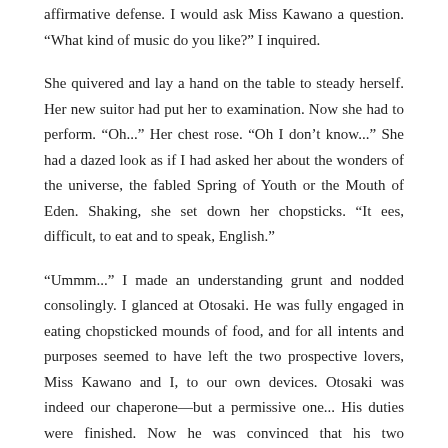affirmative defense. I would ask Miss Kawano a question. "What kind of music do you like?" I inquired.
She quivered and lay a hand on the table to steady herself. Her new suitor had put her to examination. Now she had to perform. “Oh...” Her chest rose. “Oh I don’t know...” She had a dazed look as if I had asked her about the wonders of the universe, the fabled Spring of Youth or the Mouth of Eden. Shaking, she set down her chopsticks. “It ees, difficult, to eat and to speak, English.”
“Ummm...” I made an understanding grunt and nodded consolingly. I glanced at Otosaki. He was fully engaged in eating chopsticked mounds of food, and for all intents and purposes seemed to have left the two prospective lovers, Miss Kawano and I, to our own devices. Otosaki was indeed our chaperone—but a permissive one... His duties were finished. Now he was convinced that his two kindlings were mature enough to go at it alone.